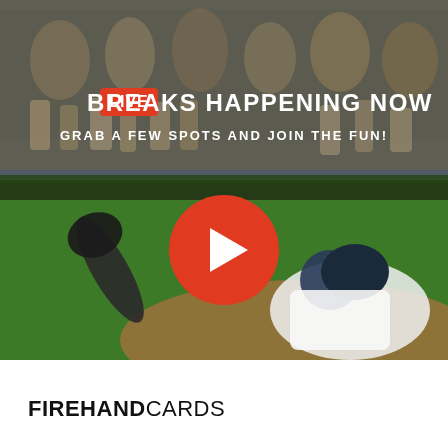[Figure (photo): Baseball game action photo showing a player sliding into base and a fielder reaching with glove, with stadium crowd in background. Overlaid with LIVE badge, headline text, and a red play button circle.]
LIVE BREAKS HAPPENING NOW
GRAB A FEW SPOTS AND JOIN THE FUN!
FIREHANDCARDS